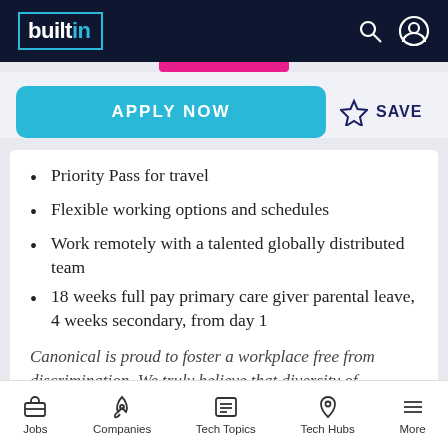builtin
Priority Pass for travel
Flexible working options and schedules
Work remotely with a talented globally distributed team
18 weeks full pay primary care giver parental leave, 4 weeks secondary, from day 1
Canonical is proud to foster a workplace free from discrimination. We truly believe that diversity of experience, perspectives, and background will lead to a better environment for our employees and a better
Jobs   Companies   Tech Topics   Tech Hubs   More